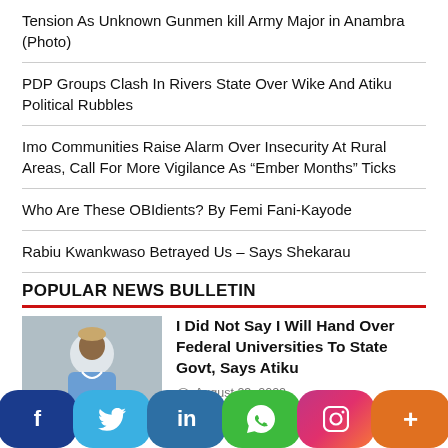Tension As Unknown Gunmen kill Army Major in Anambra (Photo)
PDP Groups Clash In Rivers State Over Wike And Atiku Political Rubbles
Imo Communities Raise Alarm Over Insecurity At Rural Areas, Call For More Vigilance As “Ember Months” Ticks
Who Are These OBIdients? By Femi Fani-Kayode
Rabiu Kwankwaso Betrayed Us – Says Shekarau
POPULAR NEWS BULLETIN
[Figure (photo): Photo of a man in traditional Nigerian attire]
I Did Not Say I Will Hand Over Federal Universities To State Govt, Says Atiku
August 23, 2022